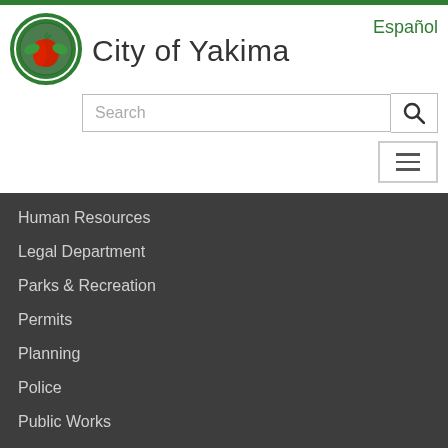[Figure (logo): City of Yakima circular seal logo with apple and green border]
City of Yakima
Español
Search
Human Resources
Legal Department
Parks & Recreation
Permits
Planning
Police
Public Works
Purchasing
Utilities & Engineering
Water / Irrigation
Wastewater / Sewer
YCTV & YPAC
All Departments
CITY GOVERNMENT
Agendas & Minutes